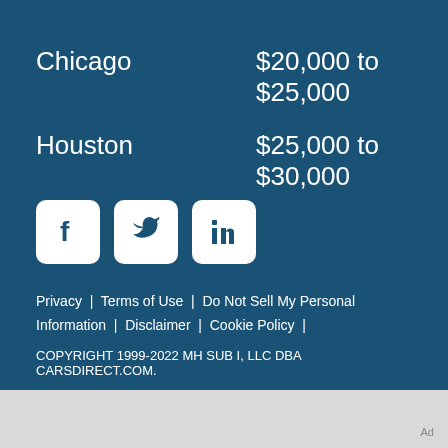Chicago    $20,000 to $25,000
Houston    $25,000 to $30,000
[Figure (illustration): Social media icons: Facebook, Twitter, LinkedIn — white rounded-square icons on dark blue background]
Privacy  |  Terms of Use  |  Do Not Sell My Personal Information  |  Disclaimer  |  Cookie Policy  |
COPYRIGHT 1999-2022 MH SUB I, LLC DBA CARSDIRECT.COM.
Ad